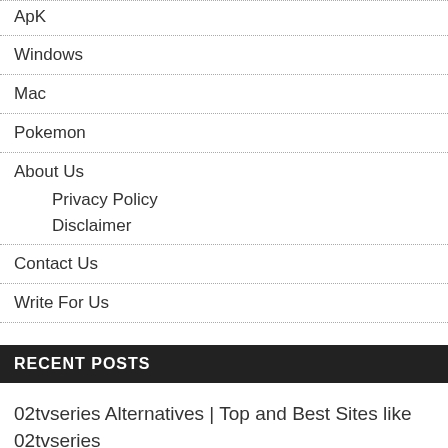ApK
Windows
Mac
Pokemon
About Us
Privacy Policy
Disclaimer
Contact Us
Write For Us
RECENT POSTS
02tvseries Alternatives | Top and Best Sites like 02tvseries